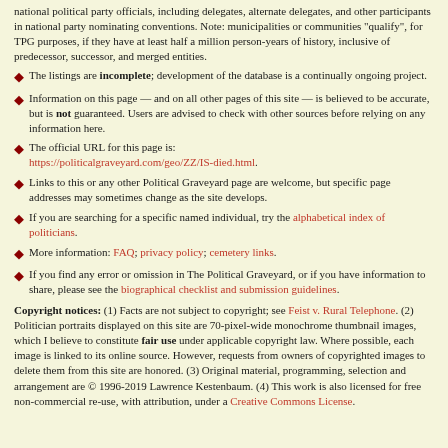national political party officials, including delegates, alternate delegates, and other participants in national party nominating conventions. Note: municipalities or communities "qualify", for TPG purposes, if they have at least half a million person-years of history, inclusive of predecessor, successor, and merged entities.
The listings are incomplete; development of the database is a continually ongoing project.
Information on this page — and on all other pages of this site — is believed to be accurate, but is not guaranteed. Users are advised to check with other sources before relying on any information here.
The official URL for this page is: https://politicalgraveyard.com/geo/ZZ/IS-died.html.
Links to this or any other Political Graveyard page are welcome, but specific page addresses may sometimes change as the site develops.
If you are searching for a specific named individual, try the alphabetical index of politicians.
More information: FAQ; privacy policy; cemetery links.
If you find any error or omission in The Political Graveyard, or if you have information to share, please see the biographical checklist and submission guidelines.
Copyright notices: (1) Facts are not subject to copyright; see Feist v. Rural Telephone. (2) Politician portraits displayed on this site are 70-pixel-wide monochrome thumbnail images, which I believe to constitute fair use under applicable copyright law. Where possible, each image is linked to its online source. However, requests from owners of copyrighted images to delete them from this site are honored. (3) Original material, programming, selection and arrangement are © 1996-2019 Lawrence Kestenbaum. (4) This work is also licensed for free non-commercial re-use, with attribution, under a Creative Commons License.